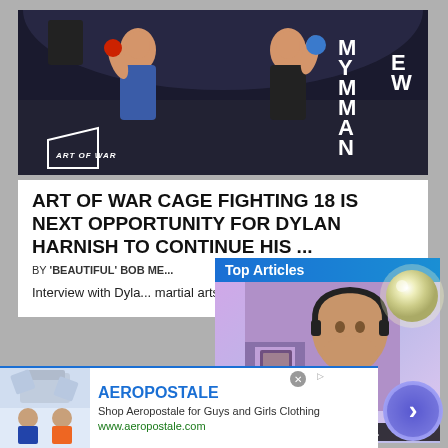[Figure (photo): MMA fighters in a cage match, Art of War event, two fighters facing off, one in blue shorts one in black shorts, signs visible in background including MYM MANE WO]
ART OF WAR CAGE FIGHTING 18 IS NEXT OPPORTUNITY FOR DYLAN HARNISH TO CONTINUE HIS ...
BY 'BEAUTIFUL' BOB ME...
Interview with Dyla... martial arts action ...
[Figure (screenshot): Top Articles video overlay showing a man with headphones in front of a purple/pink background, with play/pause controls and caption 'Brandon Lewis talks upcomi...']
[Figure (photo): Glowing orb graphic on right side]
[Figure (infographic): Aeropostale advertisement with clothing images, brand name, description 'Shop Aeropostale for Guys and Girls Clothing', URL www.aeropostale.com, with purple arrow circle button]